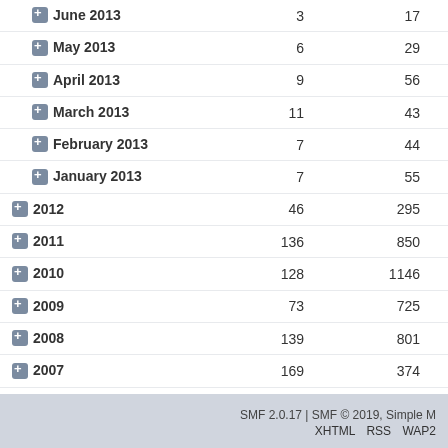| Period | Topics | Posts |
| --- | --- | --- |
| June 2013 | 3 | 17 |
| May 2013 | 6 | 29 |
| April 2013 | 9 | 56 |
| March 2013 | 11 | 43 |
| February 2013 | 7 | 44 |
| January 2013 | 7 | 55 |
| 2012 | 46 | 295 |
| 2011 | 136 | 850 |
| 2010 | 128 | 1146 |
| 2009 | 73 | 725 |
| 2008 | 139 | 801 |
| 2007 | 169 | 374 |
| 2006 | 27 | 48 |
| 2005 | 0 | 0 |
SMF 2.0.17 | SMF © 2019, Simple M   XHTML   RSS   WAP2